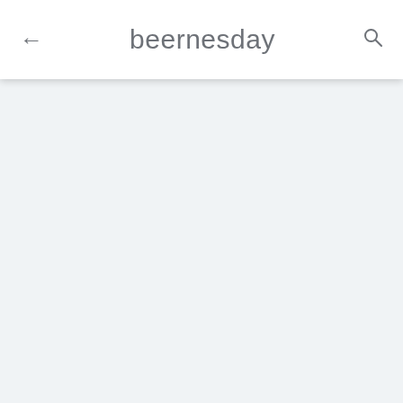beernesday
[Figure (screenshot): Empty content area with light blue-grey background below the app bar]